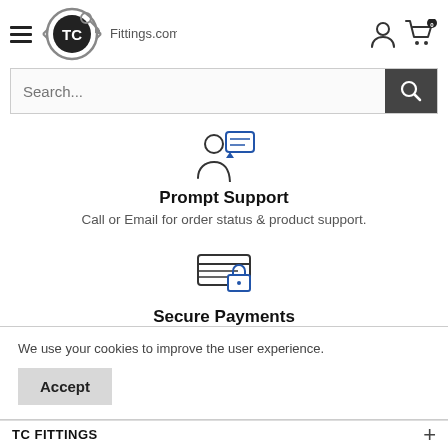[Figure (logo): TC Fittings.com logo with hamburger menu icon on left, user account icon and cart icon with badge '0' on right]
[Figure (screenshot): Search bar with placeholder text 'Search...' and dark search button with magnifier icon]
[Figure (illustration): Icon of a person with a speech/chat bubble, representing customer support]
Prompt Support
Call or Email for order status & product support.
[Figure (illustration): Icon of a credit card with a lock, representing secure payments]
Secure Payments
We use your cookies to improve the user experience.
Accept
TC FITTINGS